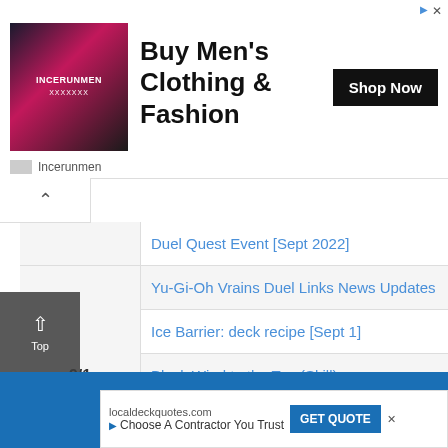[Figure (infographic): Advertisement banner for Incerunmen men's clothing with dark fashion photo, headline 'Buy Men's Clothing & Fashion', Shop Now button, and brand name 'Incerunmen']
Duel Quest Event [Sept 2022]
Yu-Gi-Oh Vrains Duel Links News Updates
Ice Barrier: deck recipe [Sept 1]
Black Wind to the Top (Skill)
Crow Hogan Character Page
Ranked Rewards of September 2022
Past updates
[Figure (infographic): Bottom advertisement for localdeckquotes.com with 'Choose A Contractor You Trust' text and 'GET QUOTE' button on blue background]